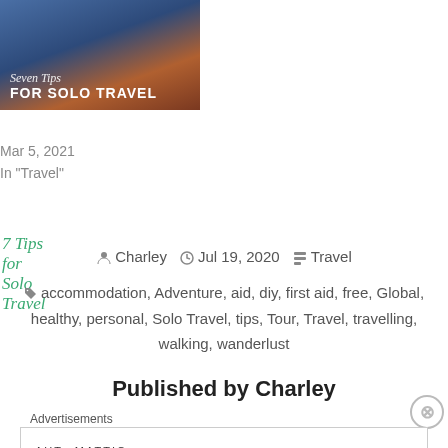[Figure (photo): Thumbnail image for '7 Tips for Solo Travel' blog post showing a landscape with mountains and sky, with overlaid text 'Seven Tips FOR SOLO TRAVEL']
7 Tips for Solo Travel
Mar 5, 2021
In "Travel"
Charley   Jul 19, 2020   Travel
accommodation, Adventure, aid, diy, first aid, free, Global, healthy, personal, Solo Travel, tips, Tour, Travel, travelling, walking, wanderlust
Published by Charley
Advertisements
[Figure (screenshot): Automattic advertisement: logo 'AUTOMATTIC' and tagline 'Build a better web and a better world.']